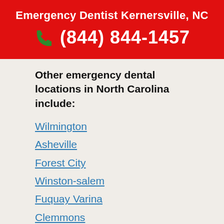Emergency Dentist Kernersville, NC
(844) 844-1457
Other emergency dental locations in North Carolina include:
Wilmington
Asheville
Forest City
Winston-salem
Fuquay Varina
Clemmons
Huntersville
Charlotte
Statesville
Goldsboro